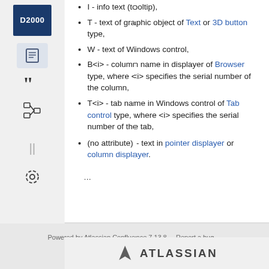I - info text (tooltip),
T - text of graphic object of Text or 3D button type,
W - text of Windows control,
B<i> - column name in displayer of Browser type, where <i> specifies the serial number of the column,
T<i> - tab name in Windows control of Tab control type, where <i> specifies the serial number of the tab,
(no attribute) - text in pointer displayer or column displayer.
...
Powered by Atlassian Confluence 7.13.8 · Report a bug · Atlassian News